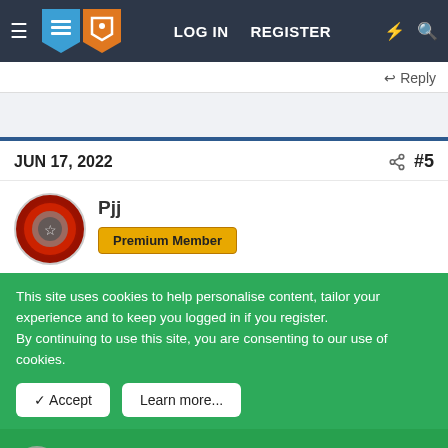LOG IN  REGISTER
Reply
JUN 17, 2022  #5
Pjj
Premium Member
This site uses cookies to help personalise content, tailor your experience and to keep you logged in if you register.
By continuing to use this site, you are consenting to our use of cookies.
✓ Accept    Learn more...
Don't enjoy ads on the forum? Remove them with a premium membership!